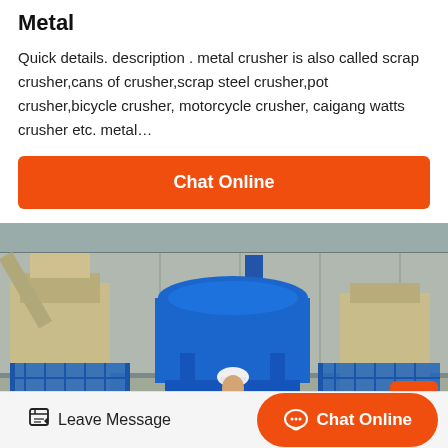Metal
Quick details. description . metal crusher is also called scrap crusher,cans of crusher,scrap steel crusher,pot crusher,bicycle crusher, motorcycle crusher, caigang watts crusher etc. metal…
[Figure (other): Orange 'Chat Online' button]
[Figure (photo): Industrial facility with large blue metal crusher machine and a worker in white hard hat standing in front of it inside a warehouse]
[Figure (other): Bottom navigation bar with Leave Message link and Chat Online button]